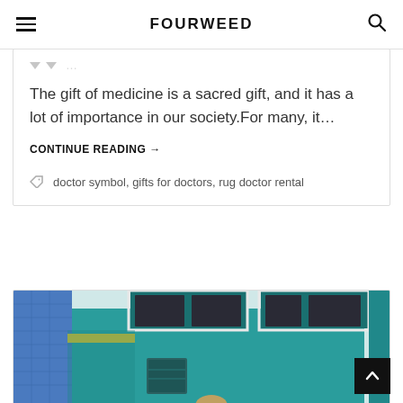FOURWEED
The gift of medicine is a sacred gift, and it has a lot of importance in our society.For many, it…
CONTINUE READING →
doctor symbol, gifts for doctors, rug doctor rental
[Figure (photo): Photo of a teal/turquoise building exterior with windows, a blue tiled wall on the left, and a metal locker/box mounted on the wall. Partial view of a person at the bottom.]